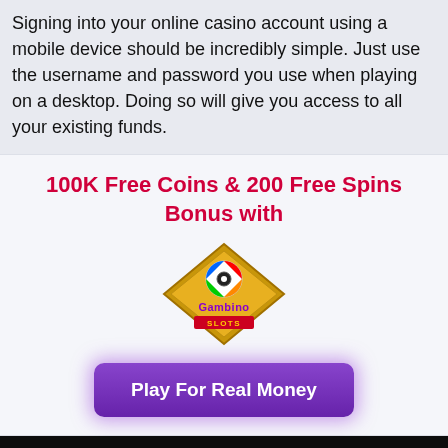Signing into your online casino account using a mobile device should be incredibly simple. Just use the username and password you use when playing on a desktop. Doing so will give you access to all your existing funds.
100K Free Coins & 200 Free Spins Bonus with
[Figure (logo): Gambino Slots logo — diamond-shaped gold emblem with colorful wheel and 'Gambino Slots' text]
Play For Real Money
NOVOMATIC GAMES
We use cookies. By continuing to browse the site you are agreeing to our use of cookies. Learn more.